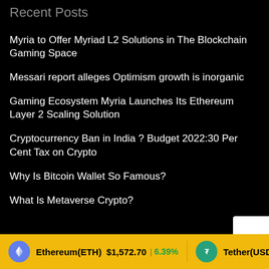Recent Posts
Myria to Offer Myriad L2 Solutions in The Blockchain Gaming Space
Messari report alleges Optimism growth is inorganic
Gaming Ecosystem Myria Launches Its Ethereum Layer 2 Scaling Solution
Cryptocurrency Ban in India ? Budget 2022:30 Per Cent Tax on Crypto
Why Is Bitcoin Wallet So Famous?
What Is Metaverse Crypto?
Ethereum(ETH) $1,572.70 6.39% Tether(USDT) $